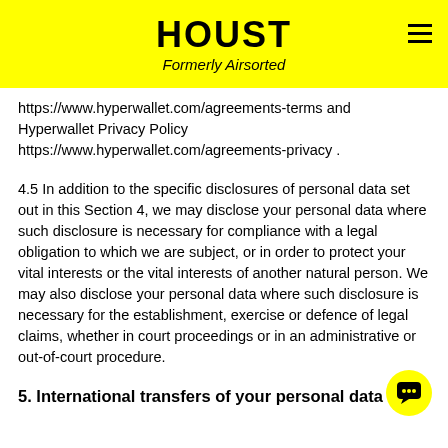HOUST — Formerly Airsorted
https://www.hyperwallet.com/agreements-terms and Hyperwallet Privacy Policy https://www.hyperwallet.com/agreements-privacy .
4.5 In addition to the specific disclosures of personal data set out in this Section 4, we may disclose your personal data where such disclosure is necessary for compliance with a legal obligation to which we are subject, or in order to protect your vital interests or the vital interests of another natural person. We may also disclose your personal data where such disclosure is necessary for the establishment, exercise or defence of legal claims, whether in court proceedings or in an administrative or out-of-court procedure.
5. International transfers of your personal data